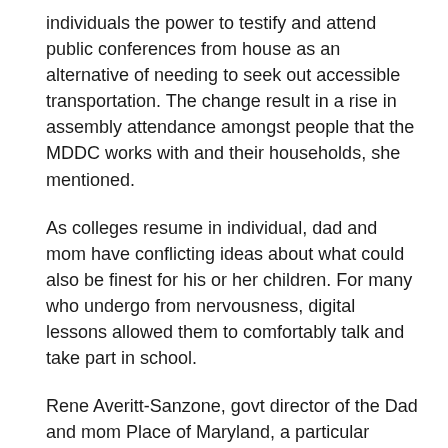individuals the power to testify and attend public conferences from house as an alternative of needing to seek out accessible transportation. The change result in a rise in assembly attendance amongst people that the MDDC works with and their households, she mentioned.
As colleges resume in individual, dad and mom have conflicting ideas about what could also be finest for his or her children. For many who undergo from nervousness, digital lessons allowed them to comfortably talk and take part in school.
Rene Averitt-Sanzone, govt director of the Dad and mom Place of Maryland, a particular training nonprofit, mentioned a number of colleges additionally elevated companies, comparable to speech remedy and sign-language lessons, to raised accommodate college students.